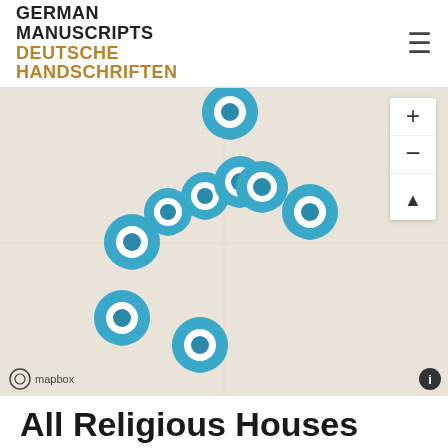GERMAN MANUSCRIPTS DEUTSCHE HANDSCHRIFTEN
[Figure (map): Interactive Mapbox map showing location pins (blue markers) scattered across a beige/tan map. Multiple blue location pins with white circle centers are placed at various positions representing religious houses. Map controls (zoom in +, zoom out -, reset bearing) are visible in the top right. Mapbox logo and info icon appear at the bottom.]
All Religious Houses